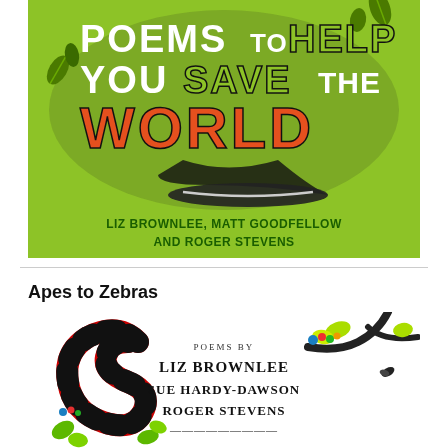[Figure (illustration): Book cover with bright green background. Large stylized speech bubble contains bold text: 'POEMS TO HELP YOU SAVE THE WORLD' in white, green, and orange letters. Decorative black leaves scattered around. Below the speech bubble in dark green text: 'LIZ BROWNLEE, MATT GOODFELLOW AND ROGER STEVENS'.]
Apes to Zebras
[Figure (illustration): Book cover partially visible. White background with colorful animal illustrations. A red and black striped snake on the left, colorful birds and creatures on branches. Center text reads: 'POEMS BY LIZ BROWNLEE SUE HARDY-DAWSON ROGER STEVENS' (partially cut off).]